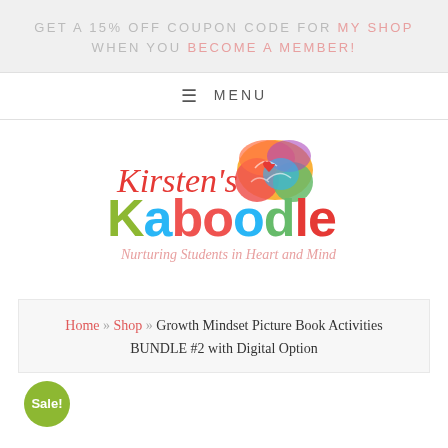GET A 15% OFF COUPON CODE FOR MY SHOP WHEN YOU BECOME A MEMBER!
≡ MENU
[Figure (logo): Kirsten's Kaboodle logo with colorful brain graphic and tagline 'Nurturing Students in Heart and Mind']
Home » Shop » Growth Mindset Picture Book Activities BUNDLE #2 with Digital Option
Sale!